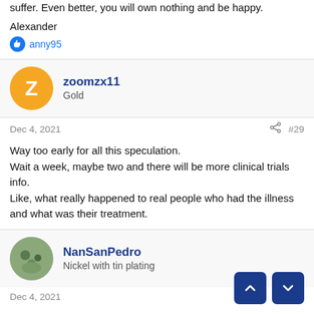suffer. Even better, you will own nothing and be happy.
Alexander
anny95
zoomzx11
Gold
Dec 4, 2021
#29
Way too early for all this speculation.
Wait a week, maybe two and there will be more clinical trials info.
Like, what really happened to real people who had the illness and what was their treatment.
NanSanPedro
Nickel with tin plating
Dec 4, 2021